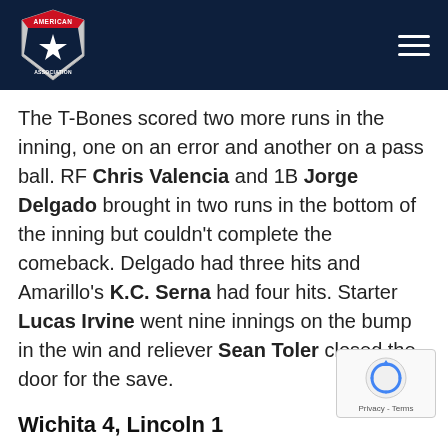[Figure (logo): American Association baseball league logo with star and red/silver badge on dark navy header bar]
The T-Bones scored two more runs in the inning, one on an error and another on a pass ball. RF Chris Valencia and 1B Jorge Delgado brought in two runs in the bottom of the inning but couldn't complete the comeback. Delgado had three hits and Amarillo's K.C. Serna had four hits. Starter Lucas Irvine went nine innings on the bump in the win and reliever Sean Toler closed the door for the save.
Wichita 4, Lincoln 1